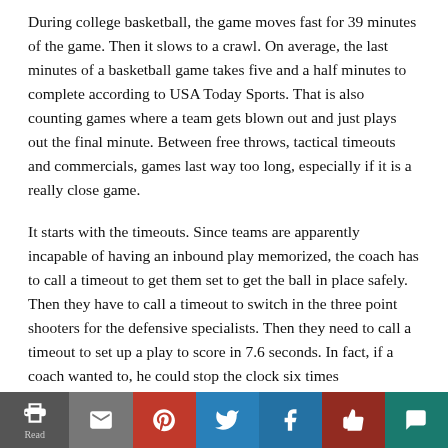During college basketball, the game moves fast for 39 minutes of the game. Then it slows to a crawl. On average, the last minutes of a basketball game takes five and a half minutes to complete according to USA Today Sports. That is also counting games where a team gets blown out and just plays out the final minute. Between free throws, tactical timeouts and commercials, games last way too long, especially if it is a really close game.
It starts with the timeouts. Since teams are apparently incapable of having an inbound play memorized, the coach has to call a timeout to get them set to get the ball in place safely. Then they have to call a timeout to switch in the three point shooters for the defensive specialists. Then they need to call a timeout to set up a play to score in 7.6 seconds. In fact, if a coach wanted to, he could stop the clock six times
[Figure (other): Social sharing toolbar with icons for print, email, Pinterest, Twitter, Facebook, like/thumbs-up, and comment]